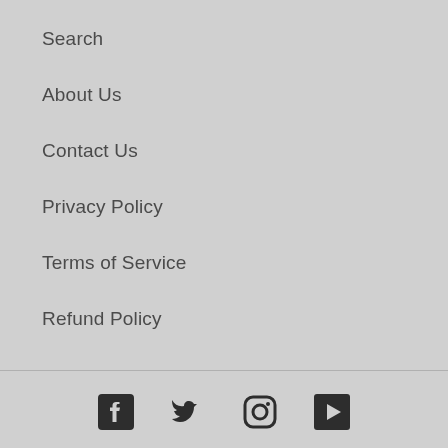Search
About Us
Contact Us
Privacy Policy
Terms of Service
Refund Policy
[Figure (other): Social media icons: Facebook, Twitter, Instagram, YouTube]